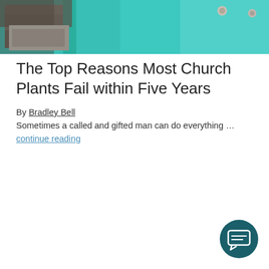[Figure (photo): Close-up photo of metal hardware/lock mechanism on a teal/turquoise painted surface]
The Top Reasons Most Church Plants Fail within Five Years
By Bradley Bell
Sometimes a called and gifted man can do everything … continue reading
[Figure (illustration): Chat/message bubble icon button in dark teal circle]